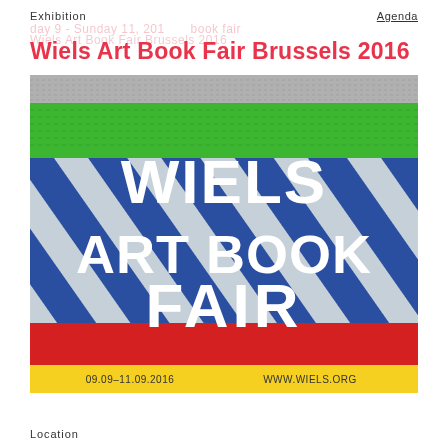Exhibition    Agenda
Wiels Art Book Fair Brussels 2016
[Figure (photo): Photo of stacked colored books/spines forming the Wiels Art Book Fair poster. Green stripe at top, blue and grey diagonal stripe pattern in middle, red stripe, and yellow stripe at bottom. White bold text reads WIELS ART BOOK FAIR. Bottom text: 09.09–11.09.2016   WWW.WIELS.ORG]
Location